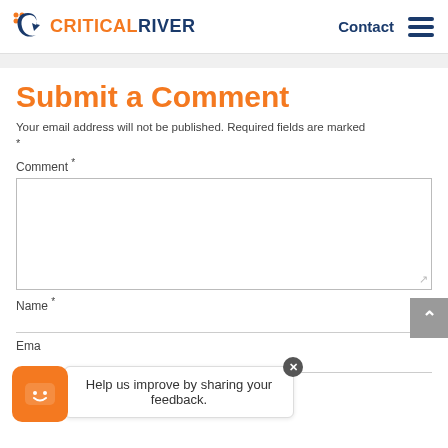CRITICALRIVER | Contact
Submit a Comment
Your email address will not be published. Required fields are marked *
Comment *
Name *
Email
[Figure (screenshot): Feedback widget with orange smiley icon and speech bubble saying 'Help us improve by sharing your feedback.' with a close (x) button]